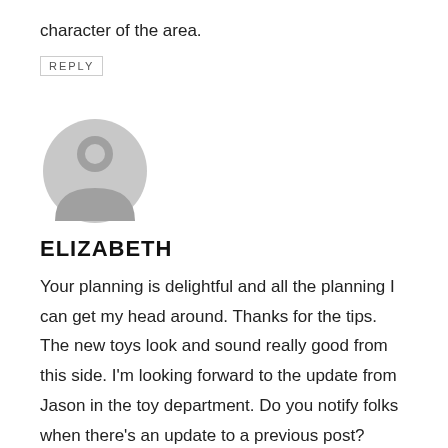character of the area.
REPLY
[Figure (illustration): Generic user avatar icon: grey circle with grey silhouette of a person's head and shoulders]
ELIZABETH
Your planning is delightful and all the planning I can get my head around. Thanks for the tips. The new toys look and sound really good from this side. I'm looking forward to the update from Jason in the toy department. Do you notify folks when there's an update to a previous post?
REPLY